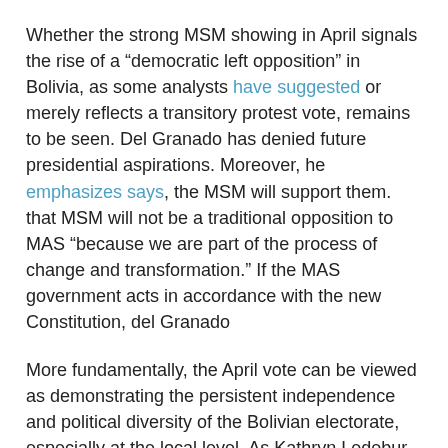Whether the strong MSM showing in April signals the rise of a “democratic left opposition” in Bolivia, as some analysts have suggested or merely reflects a transitory protest vote, remains to be seen. Del Granado has denied future presidential aspirations. Moreover, he emphasizes says, the MSM will support them. that MSM will not be a traditional opposition to MAS “because we are part of the process of change and transformation.” If the MAS government acts in accordance with the new Constitution, del Granado
More fundamentally, the April vote can be viewed as demonstrating the persistent independence and political diversity of the Bolivian electorate, especially at the local level. As Kathryn Ledebur of the Andean Information Network told NACLA, “Bolivian voters build in their own checks and balances by electing leaders from different parties at different levels of government.” The same voter may have different priorities in national and local elections.
In the past, Ledebur says, this vote-splitting practice has frequently led to stalemates and blocked governmental